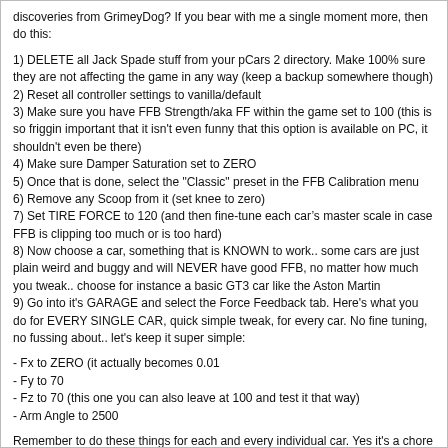discoveries from GrimeyDog? If you bear with me a single moment more, then do this:
1) DELETE all Jack Spade stuff from your pCars 2 directory. Make 100% sure they are not affecting the game in any way (keep a backup somewhere though)
2) Reset all controller settings to vanilla/default
3) Make sure you have FFB Strength/aka FF within the game set to 100 (this is so friggin important that it isn't even funny that this option is available on PC, it shouldn't even be there)
4) Make sure Damper Saturation set to ZERO
5) Once that is done, select the "Classic" preset in the FFB Calibration menu
6) Remove any Scoop from it (set knee to zero)
7) Set TIRE FORCE to 120 (and then fine-tune each car’s master scale in case FFB is clipping too much or is too hard)
8) Now choose a car, something that is KNOWN to work.. some cars are just plain weird and buggy and will NEVER have good FFB, no matter how much you tweak.. choose for instance a basic GT3 car like the Aston Martin
9) Go into it's GARAGE and select the Force Feedback tab. Here's what you do for EVERY SINGLE CAR, quick simple tweak, for every car. No fine tuning, no fussing about.. let's keep it super simple:
- Fx to ZERO (it actually becomes 0.01
- Fy to 70
- Fz to 70 (this one you can also leave at 100 and test it that way)
- Arm Angle to 2500
Remember to do these things for each and every individual car. Yes it's a chore but you only need to do them once and you can do it quick. You could also make a .xml file for each car, just like the Jack Spade stuff but I do not recommend this because it becomes tricky to set the Master Scale. Just keep it all within the game to keep it simple. These settings are "broad general strokes".. I of course fine-tune these for each car to get it "perfect" but this works as a really good starting point. All credit for finding out about the nasty Fx side effects goes to GrimeyDog. He found the "pCars is slightly weird" parameter and it really does help a lot to turn it completely off or at the very least turn it down to small values like 10 or 14.
Anyhow. That's it. You're done.